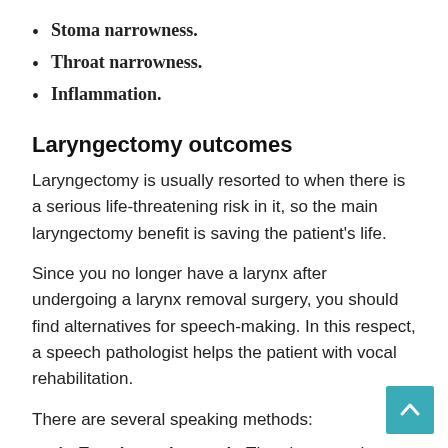Stoma narrowness.
Throat narrowness.
Inflammation.
Laryngectomy outcomes
Laryngectomy is usually resorted to when there is a serious life-threatening risk in it, so the main laryngectomy benefit is saving the patient's life.
Since you no longer have a larynx after undergoing a larynx removal surgery, you should find alternatives for speech-making. In this respect, a speech pathologist helps the patient with vocal rehabilitation.
There are several speaking methods:
Esophageal speech: The air enters the esophageal where air blockage occurs for